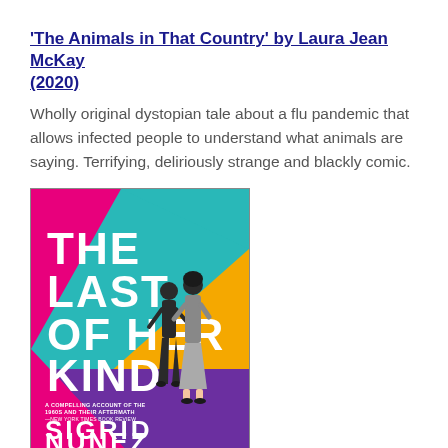'The Animals in That Country' by Laura Jean McKay (2020)
Wholly original dystopian tale about a flu pandemic that allows infected people to understand what animals are saying. Terrifying, deliriously strange and blackly comic.
[Figure (illustration): Book cover of 'The Last of Her Kind' by Sigrid Nunez. Colorful geometric cover with teal, pink, yellow, and purple sections. Large bold white text reads THE LAST OF HER KIND. Two female figures stand in the center. Bottom text reads SIGRID NUNEZ, AUTHOR OF THE FRIEND, WINNER OF THE NATIONAL BOOK AWARD. Subtitle: A COMPELLING ACCOUNT OF THE 1960S AND THEIR AFTERMATH — NEW YORK TIMES BOOK REVIEW.]